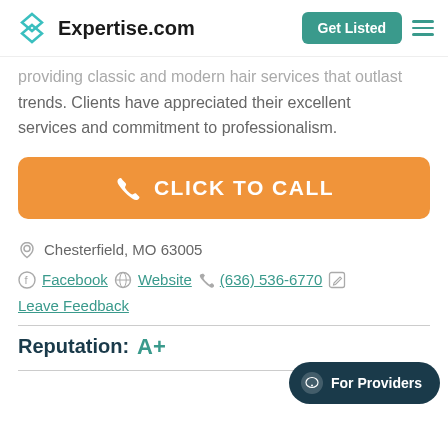Expertise.com | Get Listed
providing classic and modern hair services that outlast trends. Clients have appreciated their excellent services and commitment to professionalism.
CLICK TO CALL
Chesterfield, MO 63005
Facebook  Website  (636) 536-6770  Leave Feedback
Reputation: A+